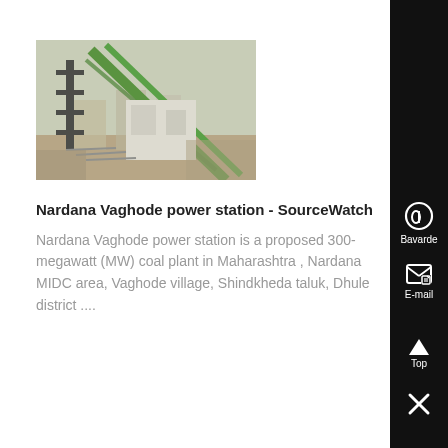[Figure (photo): Construction site photo showing industrial machinery, crane structure (green), and building materials in an outdoor setting]
Nardana Vaghode power station - SourceWatch
Nardana Vaghode power station is a proposed 300-megawatt (MW) coal plant in Maharashtra , Nardana MIDC area, Vaghode village, Shindkheda taluk, Dhule district ....